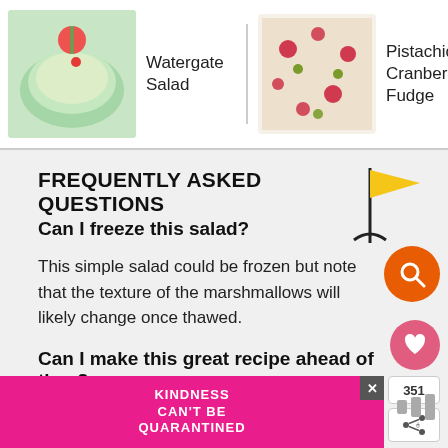[Figure (screenshot): Top navigation bar with food recipe thumbnails: Watergate Salad (green dessert), Pistachio and Cranberry Fudge, and a pink dessert image with search/navigation icons]
FREQUENTLY ASKED QUESTIONS
Can I freeze this salad?
This simple salad could be frozen but note that the texture of the marshmallows will likely change once thawed.
Can I make this great recipe ahead of time?
It is actually best to make this vintage recipe ahead of time. It gives the salad time to let all the flavors mingle and combine together for a even tastier green fluff salad.
[Figure (screenshot): Advertisement banner: pink background with 'KINDNESS CAN'T BE QUARANTINED' text in white handwritten style, with close button]